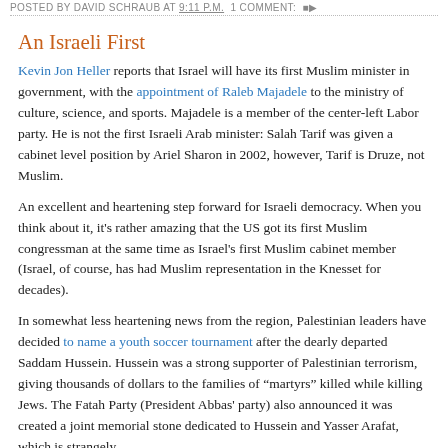POSTED BY DAVID SCHRAUB AT 9:11 P.M. 1 COMMENT:
An Israeli First
Kevin Jon Heller reports that Israel will have its first Muslim minister in government, with the appointment of Raleb Majadele to the ministry of culture, science, and sports. Majadele is a member of the center-left Labor party. He is not the first Israeli Arab minister: Salah Tarif was given a cabinet level position by Ariel Sharon in 2002, however, Tarif is Druze, not Muslim.
An excellent and heartening step forward for Israeli democracy. When you think about it, it's rather amazing that the US got its first Muslim congressman at the same time as Israel's first Muslim cabinet member (Israel, of course, has had Muslim representation in the Knesset for decades).
In somewhat less heartening news from the region, Palestinian leaders have decided to name a youth soccer tournament after the dearly departed Saddam Hussein. Hussein was a strong supporter of Palestinian terrorism, giving thousands of dollars to the families of "martyrs" killed while killing Jews. The Fatah Party (President Abbas' party) also announced it was created a joint memorial stone dedicated to Hussein and Yasser Arafat, which is strangely